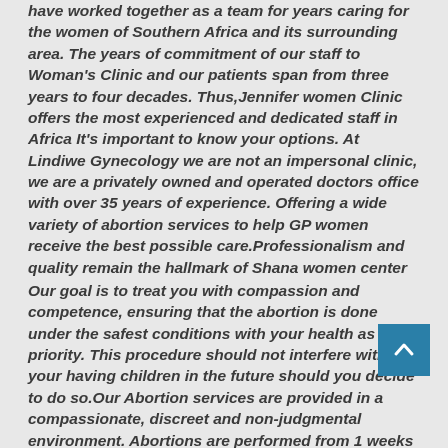have worked together as a team for years caring for the women of Southern Africa and its surrounding area. The years of commitment of our staff to Woman's Clinic and our patients span from three years to four decades. Thus,Jennifer women Clinic offers the most experienced and dedicated staff in Africa It's important to know your options. At Lindiwe Gynecology we are not an impersonal clinic, we are a privately owned and operated doctors office with over 35 years of experience. Offering a wide variety of abortion services to help GP women receive the best possible care.Professionalism and quality remain the hallmark of Shana women center
Our goal is to treat you with compassion and competence, ensuring that the abortion is done under the safest conditions with your health as our priority. This procedure should not interfere with your having children in the future should you decide to do so.Our Abortion services are provided in a compassionate, discreet and non-judgmental environment. Abortions are performed from 1 weeks to 28 weeks gestation.Our goal is to treat you with compassion and competence, ensuring that the process is done under the safest conditions with your health as our priority. This procedure should